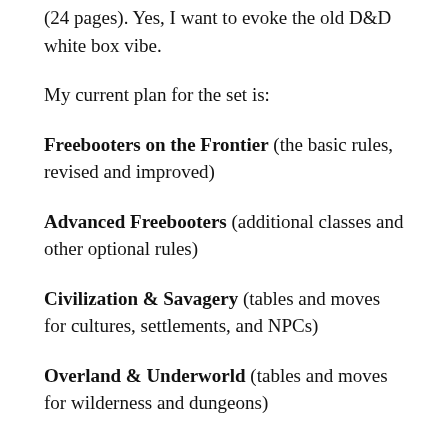(24 pages). Yes, I want to evoke the old D&D white box vibe.
My current plan for the set is:
Freebooters on the Frontier (the basic rules, revised and improved)
Advanced Freebooters (additional classes and other optional rules)
Civilization & Savagery (tables and moves for cultures, settlements, and NPCs)
Overland & Underworld (tables and moves for wilderness and dungeons)